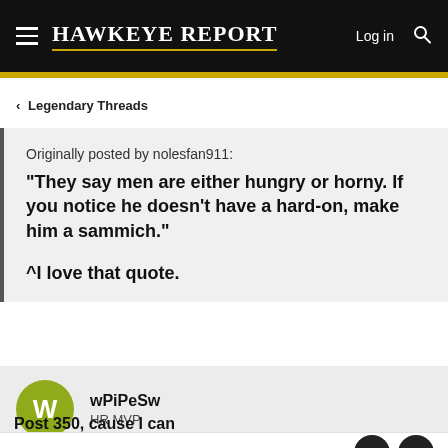Hawkeye Report — Log in
Legendary Threads
Originally posted by nolesfan911:
"They say men are either hungry or horny. If you notice he doesn't have a hard-on, make him a sammich."

^I love that quote.
wPiPeSw
HR MVP
May 13, 2006
Post 350, cause I can